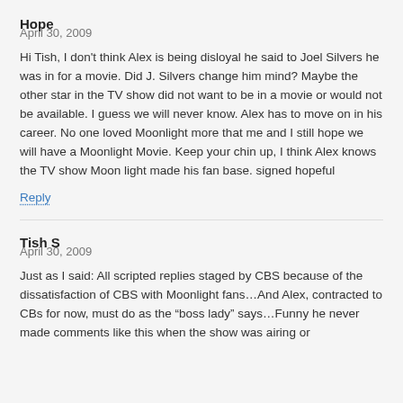Hope
April 30, 2009
Hi Tish, I don’t think Alex is being disloyal he said to Joel Silvers he was in for a movie. Did J. Silvers change him mind? Maybe the other star in the TV show did not want to be in a movie or would not be available. I guess we will never know. Alex has to move on in his career. No one loved Moonlight more that me and I still hope we will have a Moonlight Movie. Keep your chin up, I think Alex knows the TV show Moon light made his fan base. signed hopeful
Reply
Tish S
April 30, 2009
Just as I said: All scripted replies staged by CBS because of the dissatisfaction of CBS with Moonlight fans…And Alex, contracted to CBs for now, must do as the “boss lady” says…Funny he never made comments like this when the show was airing or